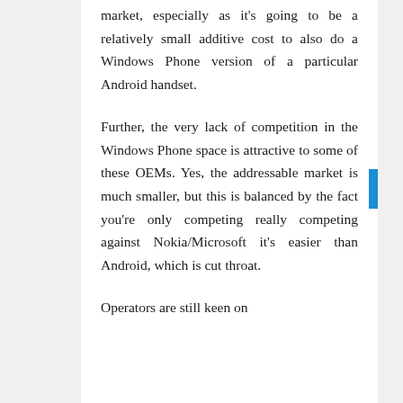market, especially as it's going to be a relatively small additive cost to also do a Windows Phone version of a particular Android handset.
Further, the very lack of competition in the Windows Phone space is attractive to some of these OEMs. Yes, the addressable market is much smaller, but this is balanced by the fact you're only competing really competing against Nokia/Microsoft it's easier than Android, which is cut throat.
Operators are still keen on